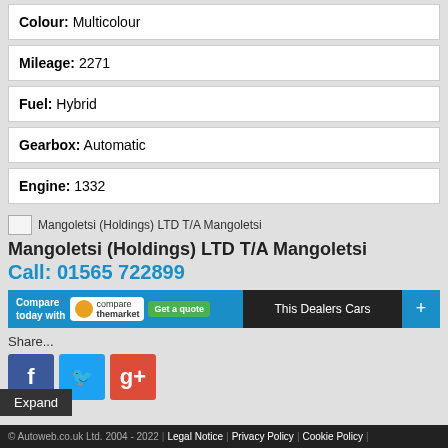Colour: Multicolour
Mileage: 2271
Fuel: Hybrid
Gearbox: Automatic
Engine: 1332
[Figure (logo): Mangoletsi (Holdings) LTD T/A Mangoletsi dealer logo placeholder]
Mangoletsi (Holdings) LTD T/A Mangoletsi
Call: 01565 722899
[Figure (screenshot): Compare today with comparethemarket Get a quote button]
This Dealers Cars +
Share...
[Figure (infographic): Facebook, Twitter, Google+ social share icons]
Expand
© Autoweb.co.uk Ltd. 2004 - 2022 | Legal Notice | Privacy Policy | Cookie Policy |